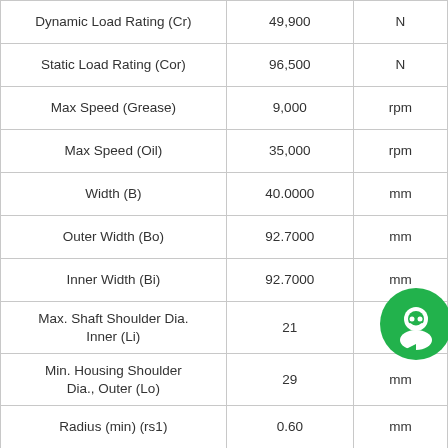| Parameter | Value | Unit |
| --- | --- | --- |
| Dynamic Load Rating (Cr) | 49,900 | N |
| Static Load Rating (Cor) | 96,500 | N |
| Max Speed (Grease) | 9,000 | rpm |
| Max Speed (Oil) | 35,000 | rpm |
| Width (B) | 40.0000 | mm |
| Outer Width (Bo) | 92.7000 | mm |
| Inner Width (Bi) | 92.7000 | mm |
| Max. Shaft Shoulder Dia. Inner (Li) | 21 | mm |
| Min. Housing Shoulder Dia., Outer (Lo) | 29 | mm |
| Radius (min) (rs1) | 0.60 | mm |